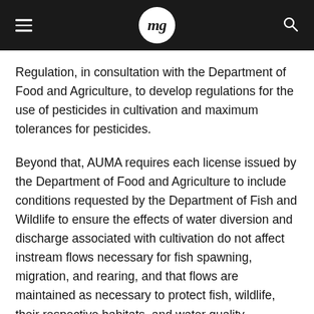mg
Regulation, in consultation with the Department of Food and Agriculture, to develop regulations for the use of pesticides in cultivation and maximum tolerances for pesticides.
Beyond that, AUMA requires each license issued by the Department of Food and Agriculture to include conditions requested by the Department of Fish and Wildlife to ensure the effects of water diversion and discharge associated with cultivation do not affect instream flows necessary for fish spawning, migration, and rearing, and that flows are maintained as necessary to protect fish, wildlife, their respective habitats, and water quality.
However, perhaps the most significant AUMA provision relating to environmental regulations, but one that does not